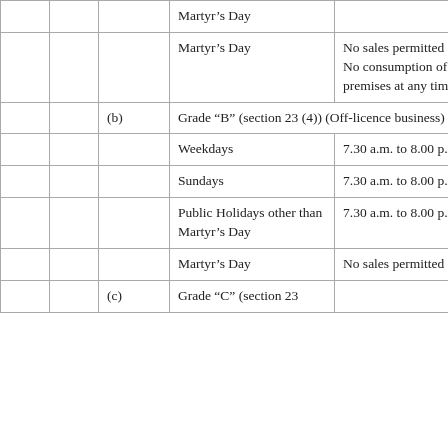|  |  |  | Day/Category | Conditions |
| --- | --- | --- | --- | --- |
|  |  |  | Martyr's Day |  |
|  |  |  | Martyr's Day | No sales permitted at any time. No consumption of liquor on premises at any time. |
|  |  | (b) | Grade “B” (section 23 (4)) (Off-licence business) |  |
|  |  |  | Weekdays | 7.30 a.m. to 8.00 p.m. |
|  |  |  | Sundays | 7.30 a.m. to 8.00 p.m. |
|  |  |  | Public Holidays other than Martyr's Day | 7.30 a.m. to 8.00 p.m. |
|  |  |  | Martyr's Day | No sales permitted |
|  |  | (c) | Grade “C” (section 23 (5)) (Hotel…) |  |